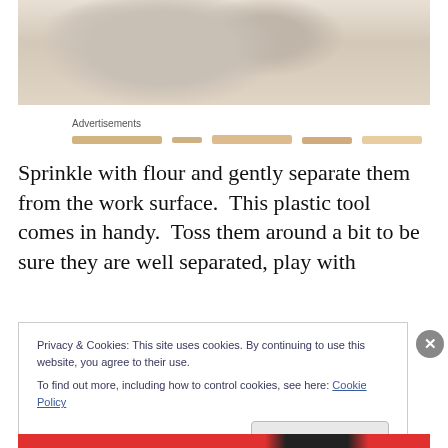[Figure (photo): Photo of crumpled or twisted dough/pasta pieces on a light-colored surface, viewed from above.]
Advertisements
Sprinkle with flour and gently separate them from the work surface.  This plastic tool comes in handy.  Toss them around a bit to be sure they are well separated, play with
Privacy & Cookies: This site uses cookies. By continuing to use this website, you agree to their use.
To find out more, including how to control cookies, see here: Cookie Policy
Close and accept